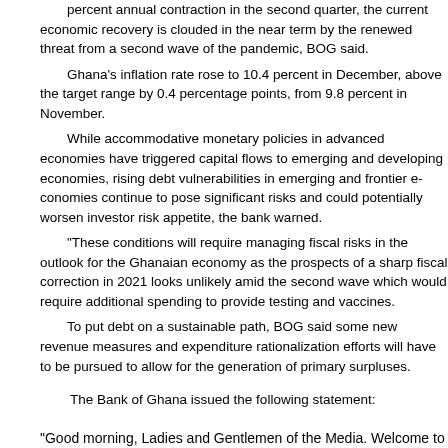After rebounding in the third quarter of last year when gross domestic product recorded a 5.7 percent annual contraction in the second quarter, the current economic recovery is clouded in the near term by the renewed threat from a second wave of the pandemic, BOG said.
Ghana's inflation rate rose to 10.4 percent in December, above the target range by 0.4 percentage points, from 9.8 percent in November.
While accommodative monetary policies in advanced economies have triggered capital flows to emerging and developing economies, rising debt vulnerabilities in emerging and frontier economies continue to pose significant risks and could potentially worsen investor risk appetite, the bank warned.
"These conditions will require managing fiscal risks in the outlook for the Ghanaian economy as the prospects of a sharp fiscal correction in 2021 looks unlikely amid the second wave which would require additional spending to provide testing and vaccines.
To put debt on a sustainable path, BOG said some new revenue measures and expenditure rationalization efforts will have to be pursued to allow for the generation of primary surpluses.
The Bank of Ghana issued the following statement:
"Good morning, Ladies and Gentlemen of the Media. Welcome to the Monetary Policy Committee (MPC) press briefing, and the first in the year. The Committee met last week and reviewed recent global and domestic developments as well as the outlook for the economy. Permit me to share with you highlights of our deliberations and key considerations that informed the decision of the Committee on the Policy Rate.
The global economy was projected to contract by a large margin in 2020 due to the adverse effects of the COVID-19 pandemic, but the global economy has performed in better than earlier forecasted. The resurgence of in